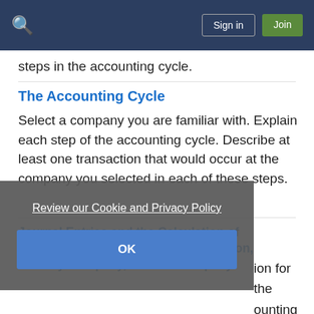steps in the accounting cycle.
The Accounting Cycle
Select a company you are familiar with. Explain each step of the accounting cycle. Describe at least one transaction that would occur at the company you selected in each of these steps.
Journal Entries and the Calculation of Depreciation for the Higher Corporation, McNally Company, and Yin Company.
ion for the
ounting
ncome
ability is
Review our Cookie and Privacy Policy
OK